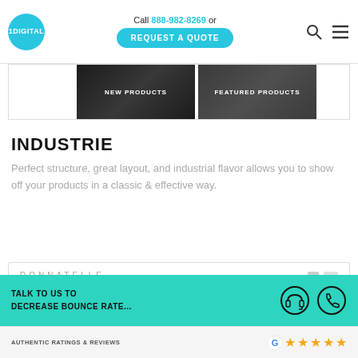Call 888-982-8269 or REQUEST A QUOTE
[Figure (screenshot): Navigation banner showing NEW PRODUCTS and FEATURED PRODUCTS sections with dark background images]
INDUSTRIE
Perfect structure, great layout, and industrial flavor allows you to show off your products in a classic & effective way.
[Figure (screenshot): Preview of a website called DONNATELLE with navigation bar]
TALK TO US TO DECREASE BOUNCE RATE...
AUTHENTIC RATINGS & REVIEWS ★★★★★